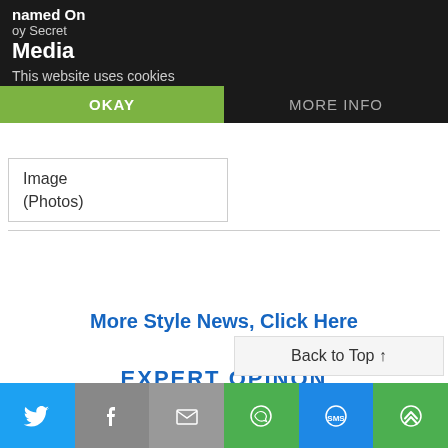This website uses cookies
Media
OKAY | MORE INFO
| Image (Photos) |
More Style News, Click Here
EXPERT OPINON
[Figure (photo): Amber Rose: Diet, Weight Loss And Yoga Workout thumbnail image placeholder]
Amber Rose: Diet, Weight Loss And Yoga Workout Tips For Hot Bikini Body Revealed
Back to Top ↑
Twitter | Facebook | Email | WhatsApp | SMS | More